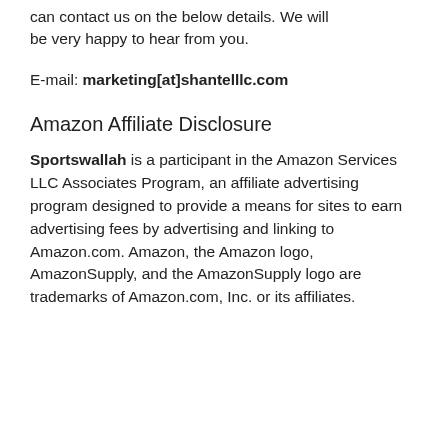can contact us on the below details. We will be very happy to hear from you.
E-mail: marketing[at]shantelllc.com
Amazon Affiliate Disclosure
Sportswallah is a participant in the Amazon Services LLC Associates Program, an affiliate advertising program designed to provide a means for sites to earn advertising fees by advertising and linking to Amazon.com. Amazon, the Amazon logo, AmazonSupply, and the AmazonSupply logo are trademarks of Amazon.com, Inc. or its affiliates.